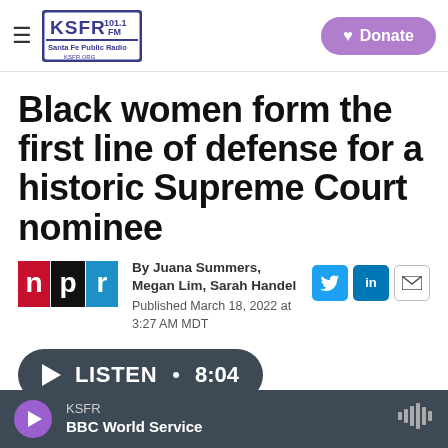KSFR 101.1 FM Santa Fe Public Radio | Donate
Black women form the first line of defense for a historic Supreme Court nominee
By Juana Summers, Megan Lim, Sarah Handel
Published March 18, 2022 at 3:27 AM MDT
LISTEN • 8:04
KSFR
BBC World Service